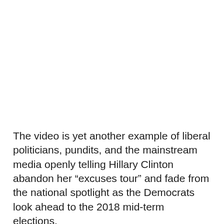The video is yet another example of liberal politicians, pundits, and the mainstream media openly telling Hillary Clinton abandon her “excuses tour” and fade from the national spotlight as the Democrats look ahead to the 2018 mid-term elections.
h/t Breitbart News